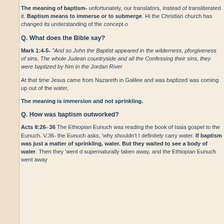The meaning of baptism- unfortunately, our translators, instead of transliterated it. Baptism means to immerse or to submerge. Hi the Christian church has changed its understanding of the concept o
Q. What does the Bible say?
Mark 1:4-5- "And so John the Baptist appeared in the wilderness, p forgiveness of sins. The whole Judean countryside and all the Confessing their sins, they were baptized by him in the Jordan River
At that time Jesus came from Nazareth in Galilee and was baptized was coming up out of the water,
The meaning is immersion and not sprinkling.
Q. How was baptism outworked?
Acts 8:26- 36 The Ethiopian Eunuch was reading the book of Isaia gospel to the Eunuch. V.36- the Eunuch asks, 'why shouldn't I definitely carry water. If baptism was just a matter of sprinkling, water. But they waited to see a body of water. Then they 'went d supernaturally taken away, and the Ethiopian Eunuch went away